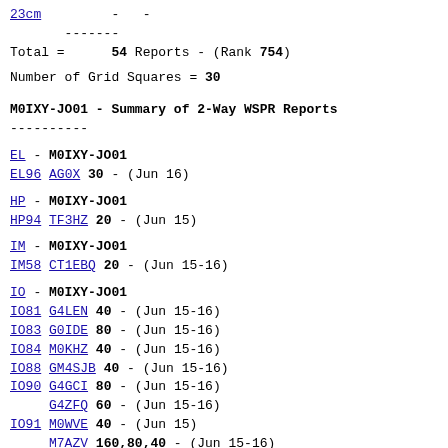23cm         -   -
-------
Total =      54 Reports - (Rank 754)
Number of Grid Squares = 30
M0IXY-JO01 - Summary of 2-Way WSPR Reports
----------
EL - M0IXY-JO01
EL96 AG0X 30 - (Jun 16)
HP - M0IXY-JO01
HP94 TF3HZ 20 - (Jun 15)
IM - M0IXY-JO01
IM58 CT1EBQ 20 - (Jun 15-16)
IO - M0IXY-JO01
IO81 G4LEN 40 - (Jun 15-16)
IO83 G0IDE 80 - (Jun 15-16)
IO84 M0KHZ 40 - (Jun 15-16)
IO88 GM4SJB 40 - (Jun 15-16)
IO90 G4GCI 80 - (Jun 15-16)
G4ZFQ 60 - (Jun 15-16)
IO91 M0WVE 40 - (Jun 15)
M7AZV 160,80,40 - (Jun 15-16)
IO92 G3ZJG 160 - (Jun 15-16)
G7SKA 80 - (Jun 15)